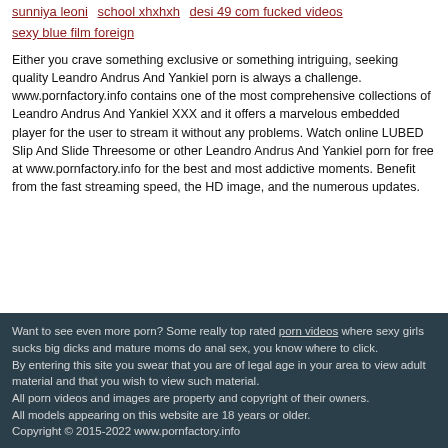sunniya leoni  school xhxhxh  desi 49 com fucked videos
sexy blue film foreign
Either you crave something exclusive or something intriguing, seeking quality Leandro Andrus And Yankiel porn is always a challenge. www.pornfactory.info contains one of the most comprehensive collections of Leandro Andrus And Yankiel XXX and it offers a marvelous embedded player for the user to stream it without any problems. Watch online LUBED Slip And Slide Threesome or other Leandro Andrus And Yankiel porn for free at www.pornfactory.info for the best and most addictive moments. Benefit from the fast streaming speed, the HD image, and the numerous updates.
Want to see even more porn? Some really top rated porn videos where sexy girls sucks big dicks and mature moms do anal sex, you know where to click. By entering this site you swear that you are of legal age in your area to view adult material and that you wish to view such material. All porn videos and images are property and copyright of their owners. All models appearing on this website are 18 years or older. Copyright © 2015-2022 www.pornfactory.info